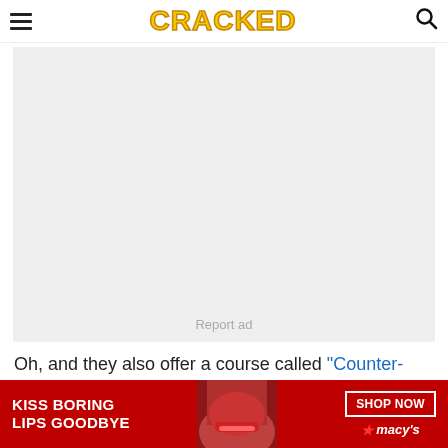CRACKED
[Figure (other): Gray advertisement placeholder box with 'Report ad' text centered at the bottom]
Oh, and they also offer a course called "Counter-Espionage", presumably aimed both at people who
[Figure (other): Macy's banner advertisement with red background showing 'KISS BORING LIPS GOODBYE' text, a woman with red lips, SHOP NOW button, and Macy's star logo]